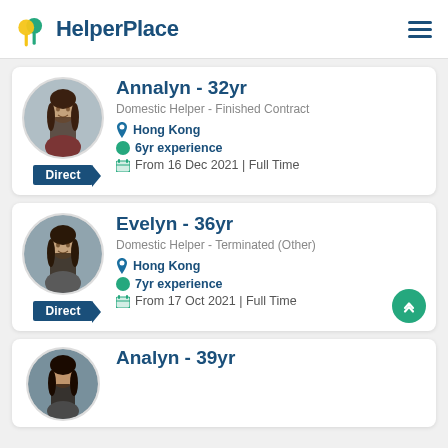HelperPlace
Annalyn - 32yr
Domestic Helper - Finished Contract
Hong Kong
6yr experience
From 16 Dec 2021 | Full Time
Direct
Evelyn - 36yr
Domestic Helper - Terminated (Other)
Hong Kong
7yr experience
From 17 Oct 2021 | Full Time
Direct
Analyn - 39yr